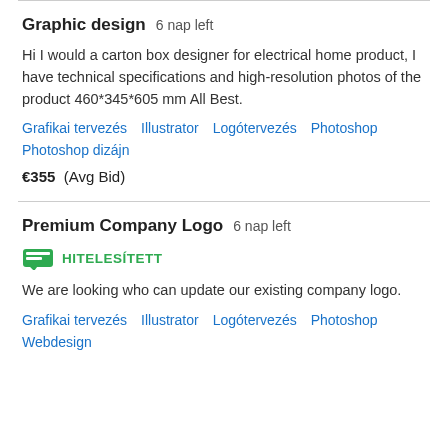Graphic design  6 nap left
Hi I would a carton box designer for electrical home product, I have technical specifications and high-resolution photos of the product 460*345*605 mm All Best.
Grafikai tervezés   Illustrator   Logótervezés   Photoshop   Photoshop dizájn
€355  (Avg Bid)
Premium Company Logo  6 nap left
HITELESÍTETT
We are looking who can update our existing company logo.
Grafikai tervezés   Illustrator   Logótervezés   Photoshop   Webdesign